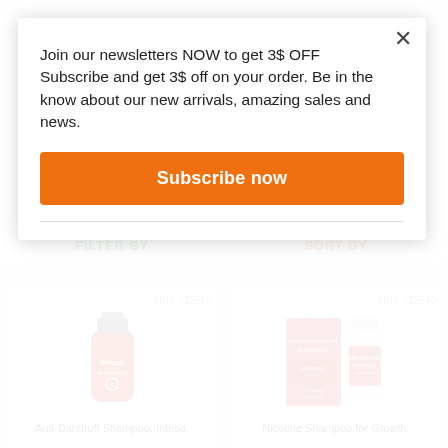Join our newsletters NOW to get 3$ OFF Subscribe and get 3$ off on your order. Be in the know about our new arrivals, amazing sales and news.
Subscribe now
FILTER BY
SORT BY
[Figure (photo): Red Intesa anti-dandruff shampoo bottle with grey cap]
SKU: 313556
Anti-Dandruff Shampoo, Intesa,
[Figure (photo): Red box and white bottle of Nicotine Shampoo for hair growth (Russian text: Никотиновый Шампунь для волос)]
SKU: 313540
Nicotine Shampoo for Growth,